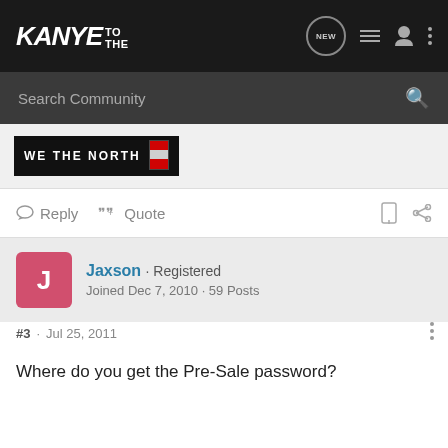KANYE TO THE
[Figure (screenshot): Search Community bar with magnifying glass icon]
[Figure (photo): WE THE NORTH banner image with Canadian flag]
Reply  Quote
Jaxson · Registered
Joined Dec 7, 2010 · 59 Posts
#3 · Jul 25, 2011
Where do you get the Pre-Sale password?